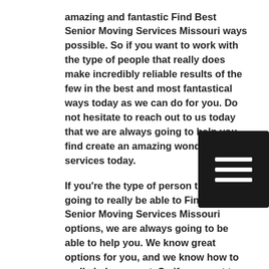amazing and fantastic Find Best Senior Moving Services Missouri ways possible. So if you want to work with the type of people that really does make incredibly reliable results of the few in the best and most fantastical ways today as we can do for you. Do not hesitate to reach out to us today that we are always going to help you find create an amazing wonderful services today.
[Figure (other): Hamburger menu icon — three horizontal white lines on a dark/black rectangular background]
If you're the type of person that is going to really be able to Find Best Senior Moving Services Missouri options, we are always going to be able to help you. We know great options for you, and we know how to really help you out. So if you want to work with the type of people that really care about you, you can actually find that we have a great results available to you. So if you're ready to come to welcoming team that is just going to make sure that you're moving success is the best that it can possibly be, and go ahead and find that service